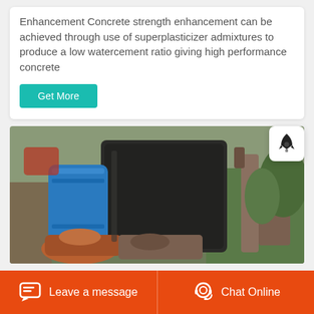Enhancement Concrete strength enhancement can be achieved through use of superplasticizer admixtures to produce a low watercement ratio giving high performance concrete
Get More
[Figure (photo): Outdoor photo showing old rusty industrial/construction equipment including a large dark drum/barrel, a blue barrel, and metal machinery parts surrounded by green vegetation]
Leave a message  Chat Online